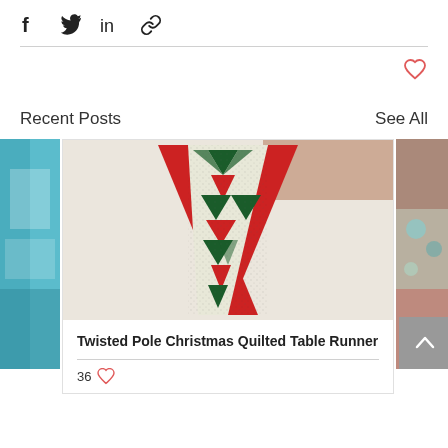[Figure (infographic): Social share bar with Facebook, Twitter, LinkedIn, and link icons]
[Figure (infographic): Heart/like icon in red outline on the right side]
Recent Posts
See All
[Figure (photo): Left partial thumbnail of a quilted item on teal/blue fabric]
[Figure (photo): Center photo of Twisted Pole Christmas Quilted Table Runner with red, green, and white pattern on a fluffy white rug]
Twisted Pole Christmas Quilted Table Runner
36
[Figure (photo): Right partial thumbnail of a decorative item with teal and red beads]